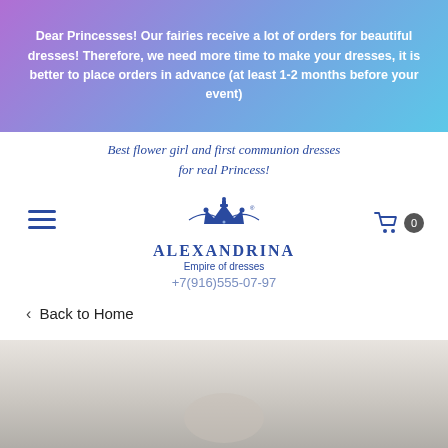Dear Princesses! Our fairies receive a lot of orders for beautiful dresses! Therefore, we need more time to make your dresses, it is better to place orders in advance (at least 1-2 months before your event)
Best flower girl and first communion dresses for real Princess!
[Figure (logo): Alexandrina Empire of dresses logo with crown emblem and phone number +7(916)555-07-97]
< Back to Home
[Figure (photo): Product photo showing a dress, partially visible at bottom of page]